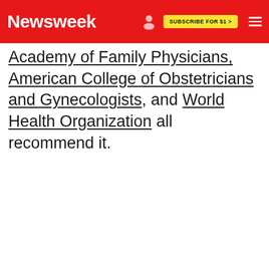Newsweek — SUBSCRIBE FOR $1 >
Academy of Family Physicians, American College of Obstetricians and Gynecologists, and World Health Organization all recommend it.